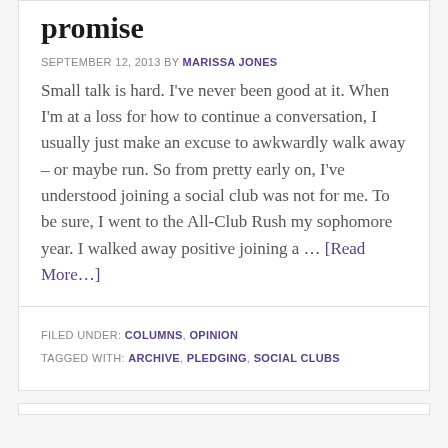promise
SEPTEMBER 12, 2013 BY MARISSA JONES
Small talk is hard. I've never been good at it. When I'm at a loss for how to continue a conversation, I usually just make an excuse to awkwardly walk away – or maybe run. So from pretty early on, I've understood joining a social club was not for me. To be sure, I went to the All-Club Rush my sophomore year. I walked away positive joining a … [Read More…]
FILED UNDER: COLUMNS, OPINION
TAGGED WITH: ARCHIVE, PLEDGING, SOCIAL CLUBS